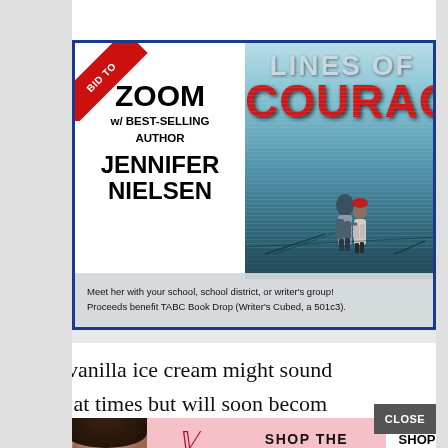[Figure (illustration): Promotional advertisement for a Zoom meeting with best-selling author Jennifer Nielsen, showing the book cover 'Lines of Courage' on the right side with two figures walking in a winter landscape. Left side shows text: ZOOM w/ BEST-SELLING AUTHOR JENNIFER NIELSEN. A red ribbon in the top-left corner reads 'BID TO'. Bottom caption reads: Meet her with your school, school district, or writer's group! Proceeds benefit TABC Book Drop (Writer's Cubed, a 501c3).]
Yes, vanilla ice cream might sound
good at times but will soon become
[Figure (advertisement): Victoria's Secret advertisement banner showing a model on the left, VS logo in center-left, text 'SHOP THE COLLECTION' in the middle, and a white 'SHOP NOW' button on the right.]